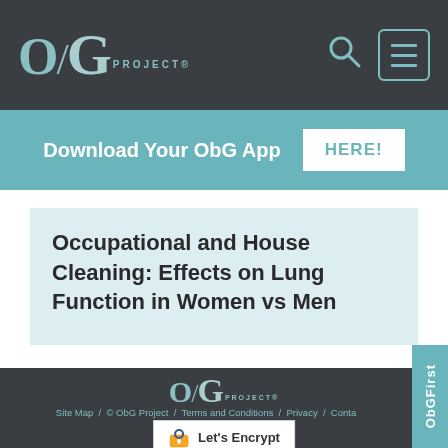ObG PROJECT®
Download Your ObG App HERE!
Occupational and House Cleaning: Effects on Lung Function in Women vs Men
[Figure (logo): ObG Project logo in footer]
Site Map / © ObG Project / Terms and Conditions / Privacy / Contact Us /
[Figure (logo): Let's Encrypt security badge]